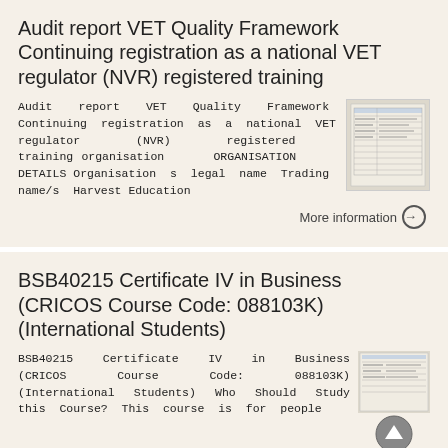Audit report VET Quality Framework Continuing registration as a national VET regulator (NVR) registered training
Audit report VET Quality Framework Continuing registration as a national VET regulator (NVR) registered training organisation ORGANISATION DETAILS Organisation s legal name Trading name/s Harvest Education
[Figure (other): Thumbnail image of a document page showing a table/form]
More information →
BSB40215 Certificate IV in Business (CRICOS Course Code: 088103K) (International Students)
BSB40215 Certificate IV in Business (CRICOS Course Code: 088103K) (International Students) Who Should Study this Course? This course is for people
[Figure (other): Thumbnail image of a document page and a back-to-top navigation button]